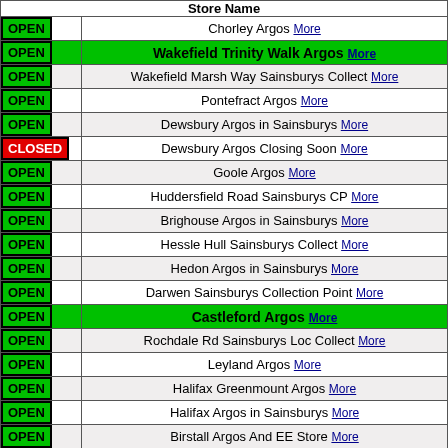| Store Name |
| --- |
| OPEN | Chorley Argos More |
| OPEN | Wakefield Trinity Walk Argos More |
| OPEN | Wakefield Marsh Way Sainsburys Collect More |
| OPEN | Pontefract Argos More |
| OPEN | Dewsbury Argos in Sainsburys More |
| CLOSED | Dewsbury Argos Closing Soon More |
| OPEN | Goole Argos More |
| OPEN | Huddersfield Road Sainsburys CP More |
| OPEN | Brighouse Argos in Sainsburys More |
| OPEN | Hessle Hull Sainsburys Collect More |
| OPEN | Hedon Argos in Sainsburys More |
| OPEN | Darwen Sainsburys Collection Point More |
| OPEN | Castleford Argos More |
| OPEN | Rochdale Rd Sainsburys Loc Collect More |
| OPEN | Leyland Argos More |
| OPEN | Halifax Greenmount Argos More |
| OPEN | Halifax Argos in Sainsburys More |
| OPEN | Birstall Argos And EE Store More |
| OPEN | Bamber Bridge Argos in Sainsburys More |
| OPEN | Leeds White Rose Argos in Sainsburys More |
| OPEN | Preston Old Rd Sainsburys Collection More |
| OPEN | Selby Argos More |